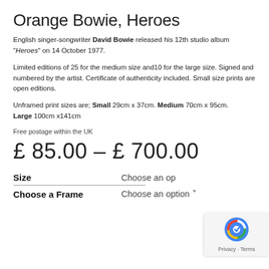Orange Bowie, Heroes
English singer-songwriter David Bowie released his 12th studio album “Heroes” on 14 October 1977.
Limited editions of 25 for the medium size and10 for the large size. Signed and numbered by the artist. Certificate of authenticity included. Small size prints are open editions.
Unframed print sizes are; Small 29cm x 37cm. Medium 70cm x 95cm. Large 100cm x141cm
Free postage within the UK
£ 85.00 – £ 700.00
Size
Choose an op…
Choose a Frame
Choose an option ⌄